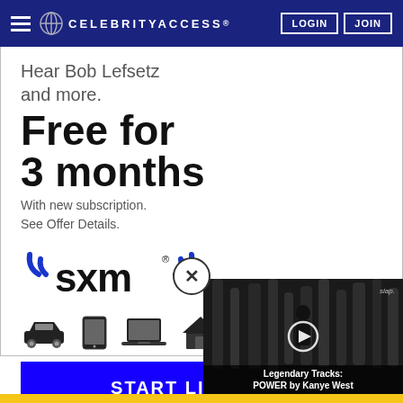CELEBRITYACCESS. LOGIN JOIN
[Figure (screenshot): SiriusXM advertisement showing 'Hear Bob Lefsetz and more. Free for 3 months. With new subscription. See Offer Details.' with SXM logo, device icons (car, tablet, laptop, house), and START LISTENING button]
[Figure (screenshot): Video overlay showing 'Legendary Tracks: POWER by Kanye West' with play button and slap. label]
Legendary Tracks: POWER by Kanye West